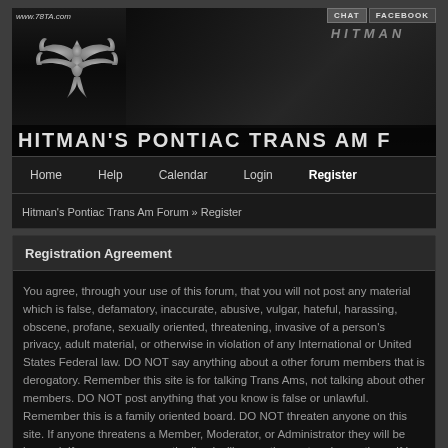[Figure (screenshot): Hitman's Pontiac Trans Am Forum header banner with Firebird logo, www.78TA.com URL, HITMAN text overlay on dark car graphic, CHAT and FACEBOOK buttons]
Home   Help   Calendar   Login   Register
Hitman's Pontiac Trans Am Forum » Register
Registration Agreement
You agree, through your use of this forum, that you will not post any material which is false, defamatory, inaccurate, abusive, vulgar, hateful, harassing, obscene, profane, sexually oriented, threatening, invasive of a person's privacy, adult material, or otherwise in violation of any International or United States Federal law. DO NOT say anything about a other forum members that is derogatory. Remember this site is for talking Trans Ams, not talking about other members. DO NOT post anything that you know is false or unlawful. Remember this is a family oriented board. DO NOT threaten anyone on this site. If anyone threatens a Member, Moderator, or Administrator they will be banned. If anyone goes over the line I will erase the post and warn them, if I have to do it twice then you are gone. If anyone has a problem with another poster please send me a message. I am not trying to hold anyone back from smack talking, but